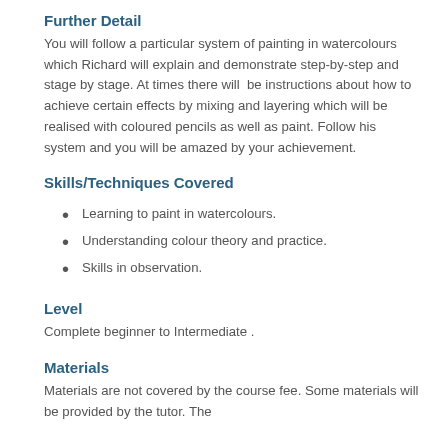Further Detail
You will follow a particular system of painting in watercolours which Richard will explain and demonstrate step-by-step and stage by stage. At times there will  be instructions about how to achieve certain effects by mixing and layering which will be realised with coloured pencils as well as paint. Follow his system and you will be amazed by your achievement.
Skills/Techniques Covered
Learning to paint in watercolours.
Understanding colour theory and practice.
Skills in observation.
Level
Complete beginner to Intermediate .
Materials
Materials are not covered by the course fee. Some materials will be provided by the tutor. The